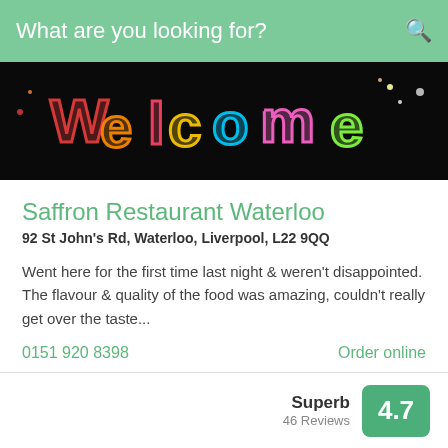What are you looking for?
[Figure (photo): Colorful neon lights spelling out 'Welcome' on a dark background]
Saffron Restaurant Waterloo
92 St John's Rd, Waterloo, Liverpool, L22 9QQ
Went here for the first time last night & weren't disappointed. The flavour & quality of the food was amazing, couldn't really get over the taste...
0151 920 8398   Order online
Superb 46 Reviews 4.7
[Figure (photo): Coffee cup with latte art on a white plate, mobile phone visible, dark background. Label reads COFFEE & TEA]